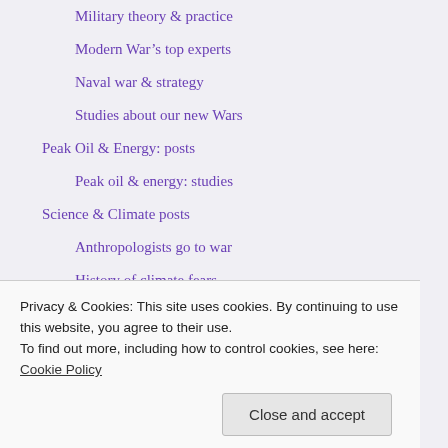Military theory & practice
Modern War's top experts
Naval war & strategy
Studies about our new Wars
Peak Oil & Energy: posts
Peak oil & energy: studies
Science & Climate posts
Anthropologists go to war
History of climate fears
Keys to climate change
Science & climate studies
Privacy & Cookies: This site uses cookies. By continuing to use this website, you agree to their use.
To find out more, including how to control cookies, see here: Cookie Policy
Close and accept